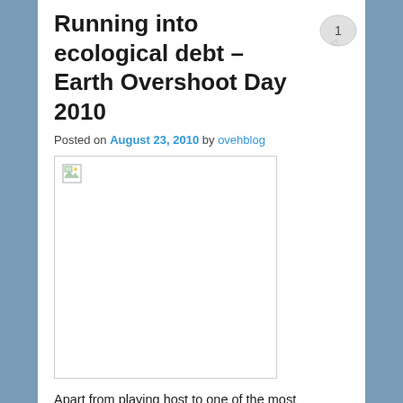Running into ecological debt – Earth Overshoot Day 2010
Posted on August 23, 2010 by ovehblog
[Figure (photo): Broken/missing image placeholder with small icon in top-left corner]
Apart from playing host to one of the most unconventional election days in Australia's history, August 21st also marked a rather unfortunate milestone – when humanity consumed all of the renewable resources that nature has been able to generate during this year.